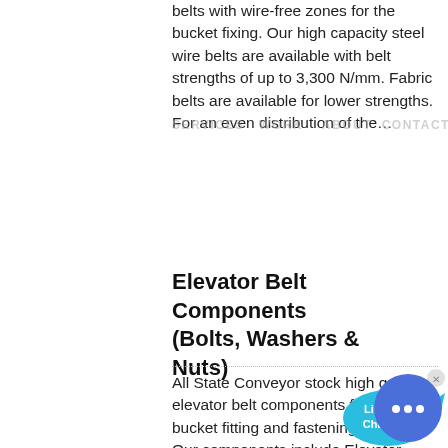belts with wire-free zones for the bucket fixing. Our high capacity steel wire belts are available with belt strengths of up to 3,300 N/mm. Fabric belts are available for lower strengths. For an even distribution of the…
SERVICES   WORK   ABOUT  CONTACT
Elevator Belt Components (Bolts, Washers & Nuts)
All State Conveyor stock high quality elevator belt components for your bucket fitting and fastening solutions. Our components include Elevator Bolts, Washers, Nuts, fastening and hardware to endless your system, all of which are suitable to use with plastic and …
COLOR:
Orange
Blue
Yellow
conveyor belt, elevator belt, plastic elevator …